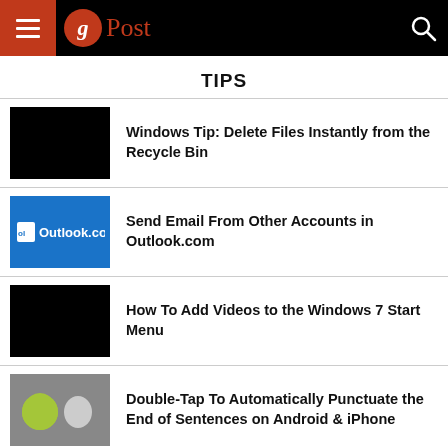gPost
TIPS
Windows Tip: Delete Files Instantly from the Recycle Bin
Send Email From Other Accounts in Outlook.com
How To Add Videos to the Windows 7 Start Menu
Double-Tap To Automatically Punctuate the End of Sentences on Android & iPhone
Download...